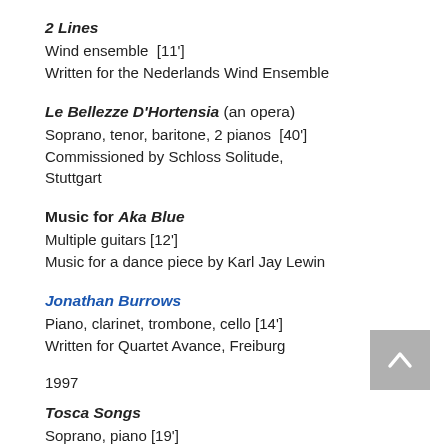2 Lines
Wind ensemble [11']
Written for the Nederlands Wind Ensemble
Le Bellezze D'Hortensia (an opera)
Soprano, tenor, baritone, 2 pianos [40']
Commissioned by Schloss Solitude, Stuttgart
Music for Aka Blue
Multiple guitars [12']
Music for a dance piece by Karl Jay Lewin
Jonathan Burrows
Piano, clarinet, trombone, cello [14']
Written for Quartet Avance, Freiburg
1997
Tosca Songs
Soprano, piano [19']
Written for Beth Griffith and Dorothea Eppendorf